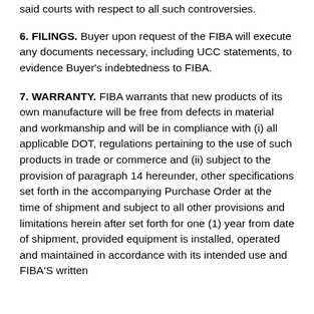said courts with respect to all such controversies.
6. FILINGS. Buyer upon request of the FIBA will execute any documents necessary, including UCC statements, to evidence Buyer's indebtedness to FIBA.
7. WARRANTY. FIBA warrants that new products of its own manufacture will be free from defects in material and workmanship and will be in compliance with (i) all applicable DOT, regulations pertaining to the use of such products in trade or commerce and (ii) subject to the provision of paragraph 14 hereunder, other specifications set forth in the accompanying Purchase Order at the time of shipment and subject to all other provisions and limitations herein after set forth for one (1) year from date of shipment, provided equipment is installed, operated and maintained in accordance with its intended use and FIBA'S written